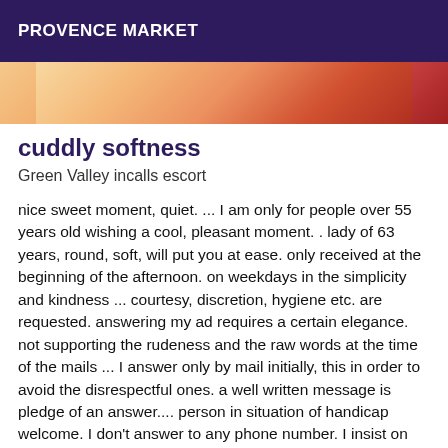PROVENCE MARKET
[Figure (photo): Partial view of a person, warm orange and red tones, cropped image]
cuddly softness
Green Valley incalls escort
nice sweet moment, quiet. ... I am only for people over 55 years old wishing a cool, pleasant moment. . lady of 63 years, round, soft, will put you at ease. only received at the beginning of the afternoon. on weekdays in the simplicity and kindness ... courtesy, discretion, hygiene etc. are requested. answering my ad requires a certain elegance. not supporting the rudeness and the raw words at the time of the mails ... I answer only by mail initially, this in order to avoid the disrespectful ones. a well written message is pledge of an answer.... person in situation of handicap welcome. I don't answer to any phone number. I insist on the fact that I systematically delete the mails that don't respect my criteria...I am very